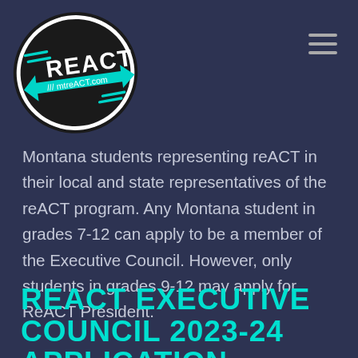[Figure (logo): reACT logo with teal arrow design and text 'REACT mtreACT.com' on dark background]
Montana students representing reACT in their local and state representatives of the reACT program. Any Montana student in grades 7-12 can apply to be a member of the Executive Council. However, only students in grades 9-12 may apply for ReACT President.
REACT EXECUTIVE COUNCIL 2023-24 APPLICATION